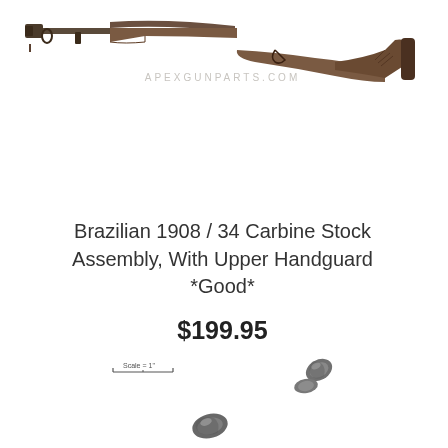[Figure (photo): Photograph of a Brazilian 1908/34 Carbine Stock Assembly with Upper Handguard, showing the full length wooden stock with upper handguard attached, viewed from the side on a white background. APEXGUNPARTS.COM watermark visible.]
Brazilian 1908 / 34 Carbine Stock Assembly, With Upper Handguard *Good*
$199.95
[Figure (photo): Scale ruler indicator showing 'Scale = 1"' with a small ruler graphic.]
[Figure (photo): Small metal parts (screws or hardware pieces) shown at scale, two separate small components photographed.]